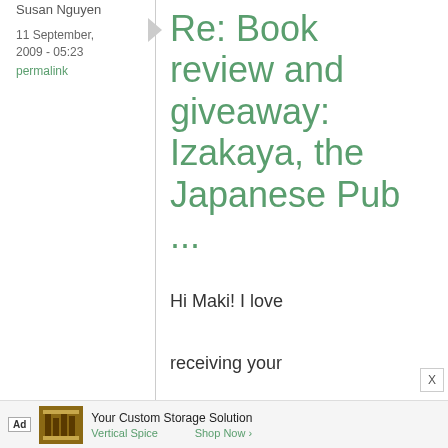Susan Nguyen
11 September, 2009 - 05:23
permalink
Re: Book review and giveaway: Izakaya, the Japanese Pub ...
Hi Maki! I love receiving your posts! Living in NY,
Ad Your Custom Storage Solution Vertical Spice Shop Now